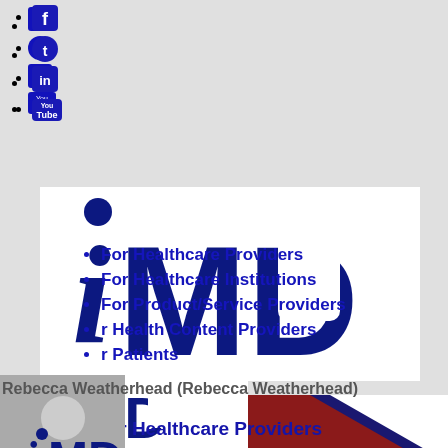Facebook icon
Twitter icon
LinkedIn icon
YouTube icon
[Figure (logo): iMD Health logo - large white panel with iMD lettering in dark blue]
[Figure (logo): iMD Health logo - small overlay]
For Healthcare Providers
For Healthcare Institutions
For Product/Service Providers
r Health Content Providers
r Patients
[Figure (illustration): Grey silhouette user/avatar icon]
Rebecca Weatherhead (Rebecca Weatherhead)
[Figure (illustration): Red and white diagonal banner at bottom of page with partial iMD logo visible]